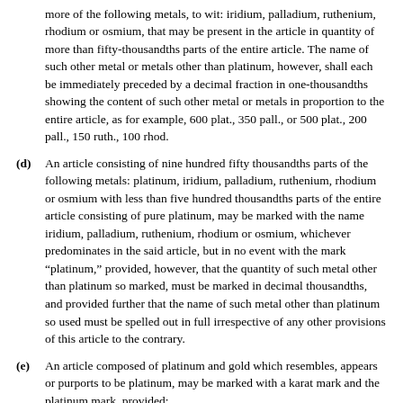more of the following metals, to wit: iridium, palladium, ruthenium, rhodium or osmium, that may be present in the article in quantity of more than fifty-thousandths parts of the entire article. The name of such other metal or metals other than platinum, however, shall each be immediately preceded by a decimal fraction in one-thousandths showing the content of such other metal or metals in proportion to the entire article, as for example, 600 plat., 350 pall., or 500 plat., 200 pall., 150 ruth., 100 rhod.
(d) An article consisting of nine hundred fifty thousandths parts of the following metals: platinum, iridium, palladium, ruthenium, rhodium or osmium with less than five hundred thousandths parts of the entire article consisting of pure platinum, may be marked with the name iridium, palladium, ruthenium, rhodium or osmium, whichever predominates in the said article, but in no event with the mark “platinum,” provided, however, that the quantity of such metal other than platinum so marked, must be marked in decimal thousandths, and provided further that the name of such metal other than platinum so used must be spelled out in full irrespective of any other provisions of this article to the contrary.
(e) An article composed of platinum and gold which resembles, appears or purports to be platinum, may be marked with a karat mark and the platinum mark, provided:
1. The platinum in such article shall be at least nine hundred